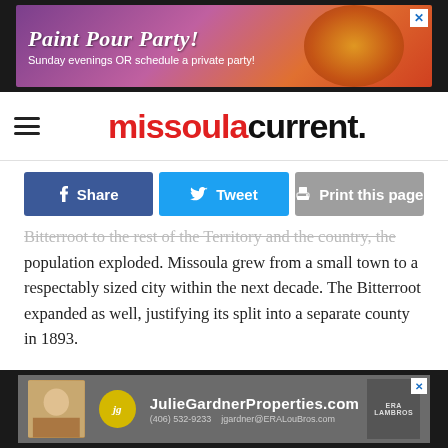[Figure (photo): Top advertisement banner: Paint Pour Party! Sunday evenings OR schedule a private party!]
missoula current.
[Figure (infographic): Social sharing buttons: Share (Facebook), Tweet (Twitter), Print this page]
Bitterroot to the rest of the Territory and the country, the population exploded. Missoula grew from a small town to a respectably sized city within the next decade. The Bitterroot expanded as well, justifying its split into a separate county in 1893.
ADVERTISEMENT
[Figure (photo): Bottom advertisement banner: JulieGardnerProperties.com with photo of realtor, (406) 532-9233, jgardner@ERALouBros.com, ERA LAMBROS]